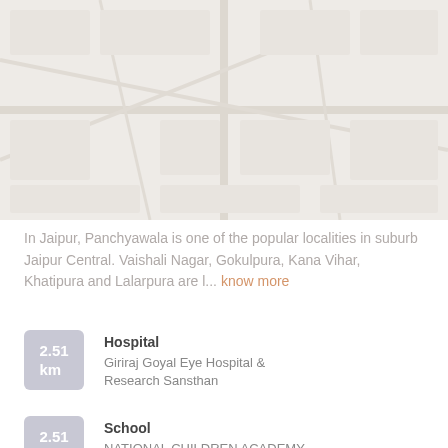[Figure (map): Faded/washed-out map image showing locality area]
In Jaipur, Panchyawala is one of the popular localities in suburb Jaipur Central. Vaishali Nagar, Gokulpura, Kana Vihar, Khatipura and Lalarpura are l... know more
2.51 km | Hospital | Giriraj Goyal Eye Hospital & Research Sansthan
2.51 km | School | NATIONAL CHILDREN ACADEMY